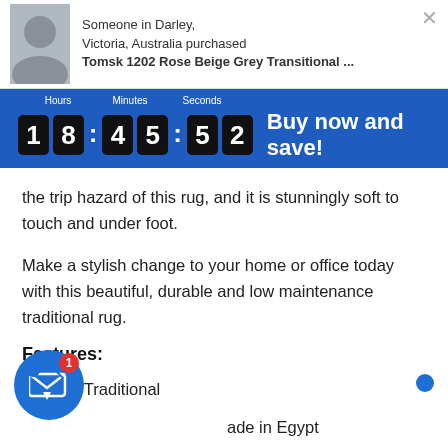[Figure (screenshot): Notification popup showing someone in Darley, Victoria, Australia purchased Tomsk 1202 Rose Beige Grey Transitional rug, with a small product image on the left and a close button.]
Save 15% with coupon code save15 (enter at checkout)
[Figure (screenshot): Countdown timer bar showing 18:45:52 with Hours, Minutes, Seconds labels and 'Buy now and save!' text on blue background]
the trip hazard of this rug, and it is stunningly soft to touch and under foot.
Make a stylish change to your home or office today with this beautiful, durable and low maintenance traditional rug.
Features:
Style: Traditional
Made in Egypt
1mm pile height